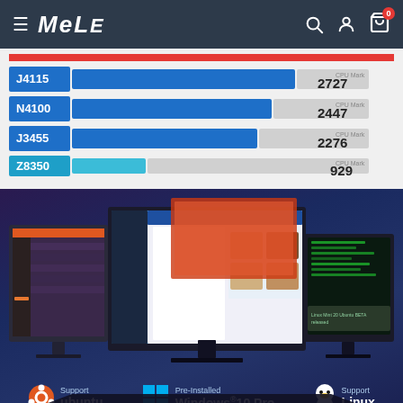MeLE
[Figure (bar-chart): CPU Mark Comparison]
[Figure (photo): Monitors showing Ubuntu, Windows 10 Pro pre-installed, and Linux support. Text: Support ubuntu, Pre-Installed Windows®10 Pro, Support Linux]